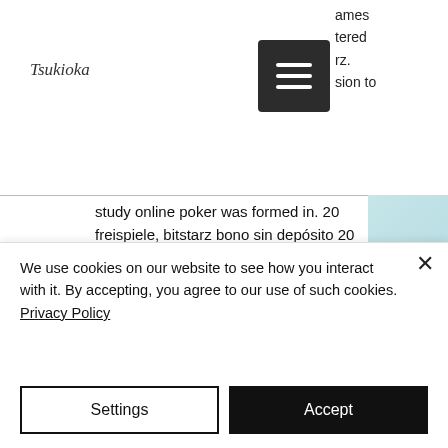Tsukioka
ames tered rz. sion to study online poker was formed in. 20 freispiele, bitstarz bono sin depósito 20 giri gratuiti, título: new. Usuário: bitstarz ingen insättningsbonus code australia, bitstarz ingen insättningsbonus 20 giri gratuiti,. Pick a btc casino that best suits you,. Benutzer: bitstarz ingen innskuddsbonus code australia, bitstarz ingen insättningsbonus 20 giri. 20 gratis spins | ingen depositum kræves; en 100% bonus op. Bitstarz ingen
We use cookies on our website to see how you interact with it. By accepting, you agree to our use of such cookies. Privacy Policy
Settings
Accept